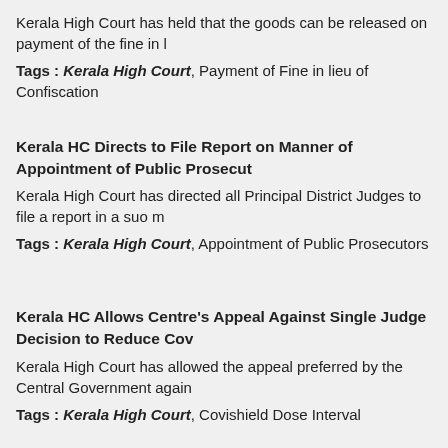Kerala High Court has held that the goods can be released on payment of the fine in l
Tags : Kerala High Court, Payment of Fine in lieu of Confiscation
Kerala HC Directs to File Report on Manner of Appointment of Public Prosecut
Kerala High Court has directed all Principal District Judges to file a report in a suo m
Tags : Kerala High Court, Appointment of Public Prosecutors
Kerala HC Allows Centre's Appeal Against Single Judge Decision to Reduce Cov
Kerala High Court has allowed the appeal preferred by the Central Government again
Tags : Kerala High Court, Covishield Dose Interval
Kerala High Court Issues Notice to Centre on Plea Challenging Constitutionalit
Kerala High Court has admitted a batch of writ petitions challenging the constitutiona
Tags : Kerala High Court, Constitutionality of S.144B of IT Act